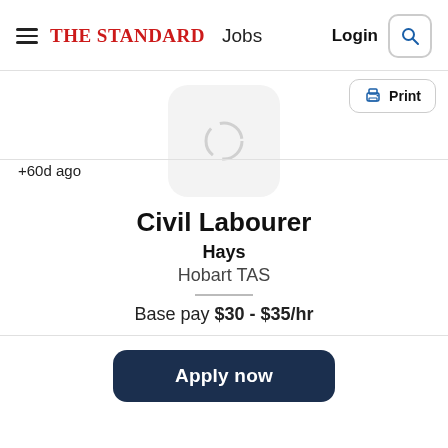THE STANDARD Jobs   Login
+60d ago
[Figure (logo): Circular loading/placeholder logo icon on a light grey rounded square background]
Civil Labourer
Hays
Hobart TAS
Base pay $30 - $35/hr
Apply now